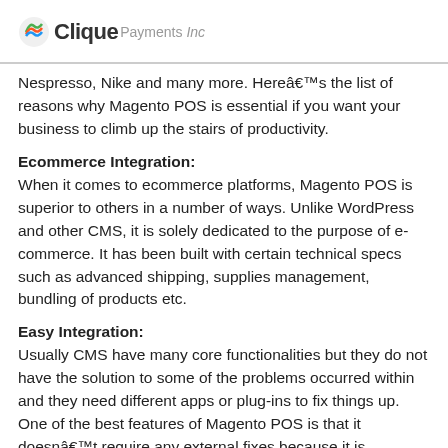Clique Payments Inc
Nespresso, Nike and many more. Hereâ€™s the list of reasons why Magento POS is essential if you want your business to climb up the stairs of productivity.
Ecommerce Integration:
When it comes to ecommerce platforms, Magento POS is superior to others in a number of ways. Unlike WordPress and other CMS, it is solely dedicated to the purpose of e-commerce. It has been built with certain technical specs such as advanced shipping, supplies management, bundling of products etc.
Easy Integration:
Usually CMS have many core functionalities but they do not have the solution to some of the problems occurred within and they need different apps or plug-ins to fix things up. One of the best features of Magento POS is that it doesnâ€™t require any external fixes because it is